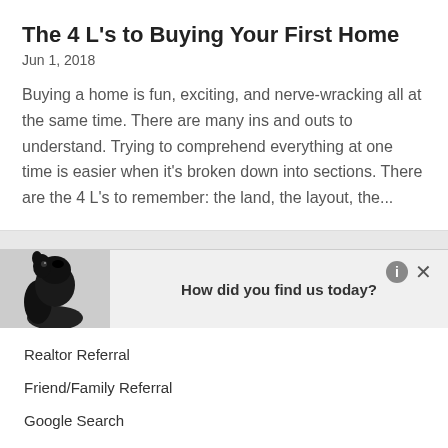The 4 L's to Buying Your First Home
Jun 1, 2018
Buying a home is fun, exciting, and nerve-wracking all at the same time. There are many ins and outs to understand. Trying to comprehend everything at one time is easier when it's broken down into sections. There are the 4 L's to remember: the land, the layout, the...
How did you find us today?
Realtor Referral
Friend/Family Referral
Google Search
Home Advisor
Other (please specify)  Submit